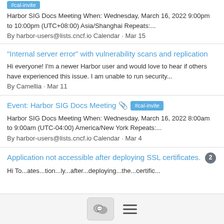Updated Event: Harbor SIG Docs Meeting [partial title, clipped at top]
#cal-invite
Harbor SIG Docs Meeting When: Wednesday, March 16, 2022 9:00pm to 10:00pm (UTC+08:00) Asia/Shanghai Repeats:...
By harbor-users@lists.cncf.io Calendar · Mar 15
"Internal server error" with vulnerability scans and replication
Hi everyone! I'm a newer Harbor user and would love to hear if others have experienced this issue. I am unable to run security...
By Camellia · Mar 11
Event: Harbor SIG Docs Meeting 📎 #cal-invite
Harbor SIG Docs Meeting When: Wednesday, March 16, 2022 8:00am to 9:00am (UTC-04:00) America/New York Repeats:...
By harbor-users@lists.cncf.io Calendar · Mar 4
Application not accessible after deploying SSL certificates. [2]
Hi To...ates...tion...ly...after...deploying...the...certific...